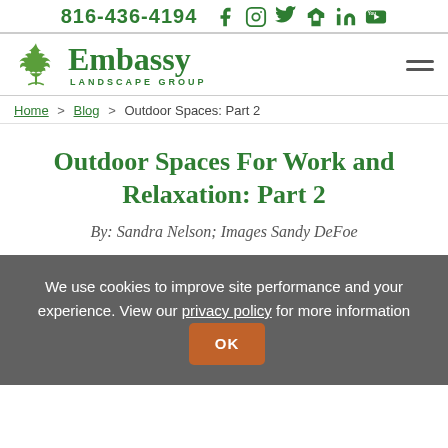816-436-4194 [social icons: Facebook, Instagram, Twitter, Houzz, LinkedIn, YouTube]
[Figure (logo): Embassy Landscape Group logo with green maple leaf and green text]
Home > Blog > Outdoor Spaces: Part 2
Outdoor Spaces For Work and Relaxation: Part 2
By: Sandra Nelson; Images Sandy DeFoe
We use cookies to improve site performance and your experience. View our privacy policy for more information OK